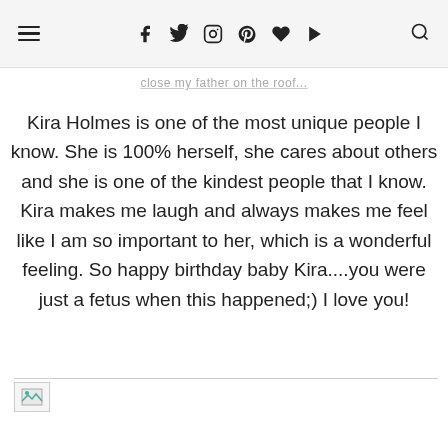≡  f  𝕥  📷  ℗  ♥  ▶  🔍
close my father on the roof...
Kira Holmes is one of the most unique people I know. She is 100% herself, she cares about others and she is one of the kindest people that I know. Kira makes me laugh and always makes me feel like I am so important to her, which is a wonderful feeling. So happy birthday baby Kira....you were just a fetus when this happened;) I love you!
[Figure (photo): Broken image placeholder with small image icon at the top-left of a horizontal line area]